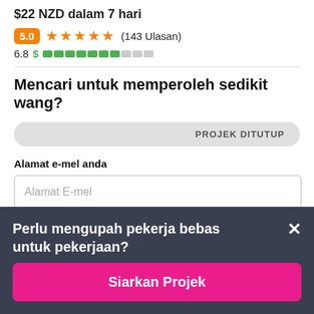$22 NZD dalam 7 hari
5.0 ★★★★★ (143 Ulasan)
6.8 $ ████████░░░
Mencari untuk memperoleh sedikit wang?
PROJEK DITUTUP
Alamat e-mel anda
Alamat E-mel
Perlu mengupah pekerja bebas untuk pekerjaan?
Siarkan Projek